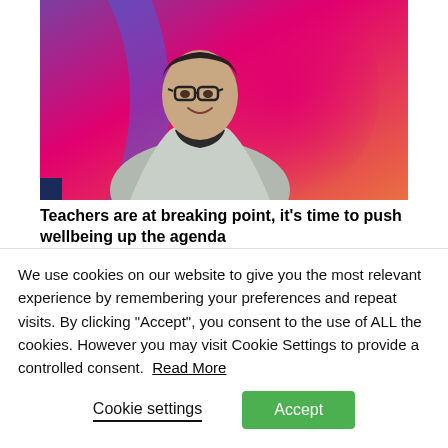[Figure (photo): A man wearing glasses and a light grey blazer over a dark shirt, smiling, in front of a colorful abstract background with pink, purple, blue, and orange tones. A small dark blue square is visible in the lower left corner.]
Teachers are at breaking point, it's time to push wellbeing up the agenda
We use cookies on our website to give you the most relevant experience by remembering your preferences and repeat visits. By clicking "Accept", you consent to the use of ALL the cookies. However you may visit Cookie Settings to provide a controlled consent.  Read More
Cookie settings   Accept